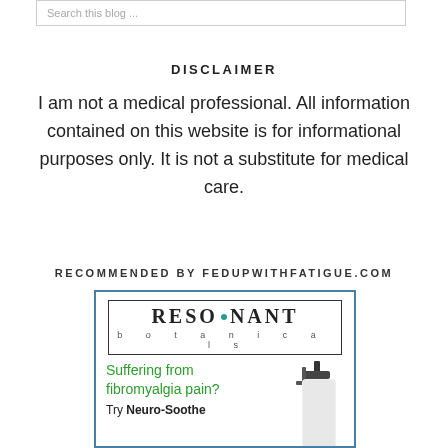Search this blog ...
DISCLAIMER
I am not a medical professional. All information contained on this website is for informational purposes only. It is not a substitute for medical care.
RECOMMENDED BY FEDUPWITHFATIGUE.COM
[Figure (illustration): Advertisement for Resonant Botanicals showing the brand logo, text 'Suffering from fibromyalgia pain? Try Neuro-Soothe' and a pump bottle image.]